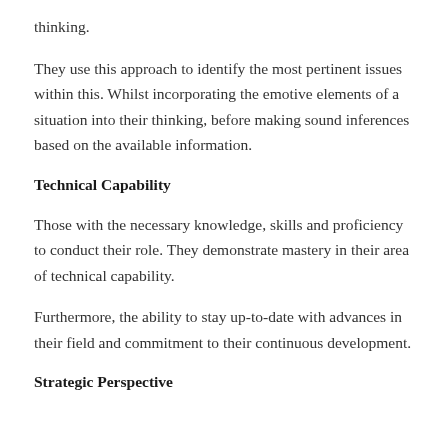thinking.
They use this approach to identify the most pertinent issues within this. Whilst incorporating the emotive elements of a situation into their thinking, before making sound inferences based on the available information.
Technical Capability
Those with the necessary knowledge, skills and proficiency to conduct their role. They demonstrate mastery in their area of technical capability.
Furthermore, the ability to stay up-to-date with advances in their field and commitment to their continuous development.
Strategic Perspective